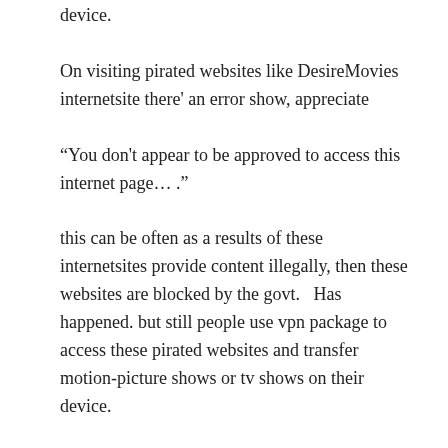device.
On visiting pirated websites like DesireMovies internetsite there' an error show, appreciate
“You don't appear to be approved to access this internet page… ."
this can be often as a results of these internetsites provide content illegally, then these websites are blocked by the govt.   Has happened. but still people use vpn package to access these pirated websites and transfer motion-picture shows or tv shows on their device.
it' attending to take you time to transfer a movie or internet series from DesireMovies. as a results of these websites offer content for free, then instead they show